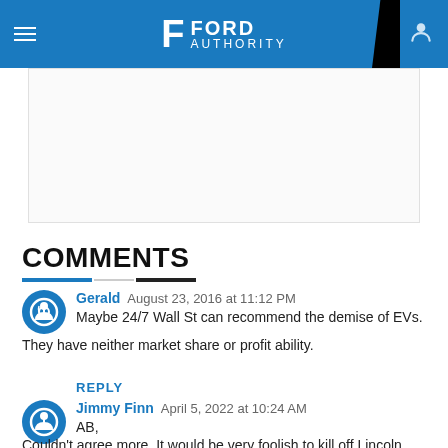Ford Authority
[Figure (other): Advertisement placeholder area with border]
COMMENTS
Gerald  August 23, 2016 at 11:12 PM
Maybe 24/7 Wall St can recommend the demise of EVs. They have neither market share or profit ability.
REPLY
Jimmy Finn  April 5, 2022 at 10:24 AM
AB,
Couldn't agree more. It would be very foolish to kill off Lincoln